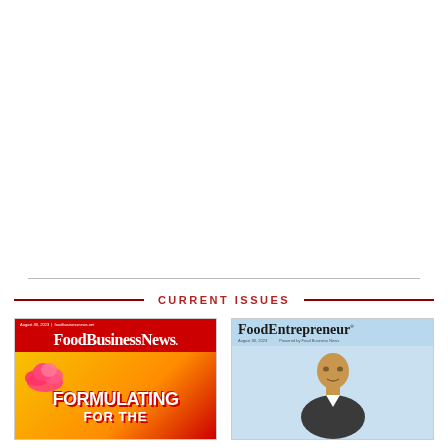CURRENT ISSUES
[Figure (photo): Magazine cover of Food Business News showing red masthead with 'Food Business News' logo and bold text 'FORMULATING' with colorful sunburst background]
[Figure (photo): Magazine cover of Food Entrepreneur showing light blue background with 'FoodEntrepreneur' logo and a person's photo]